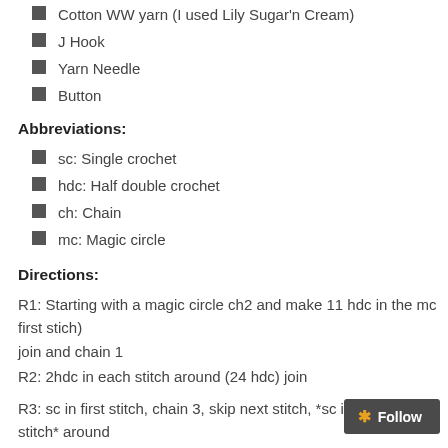Cotton WW yarn (I used Lily Sugar'n Cream)
J Hook
Yarn Needle
Button
Abbreviations:
sc: Single crochet
hdc: Half double crochet
ch: Chain
mc: Magic circle
Directions:
R1: Starting with a magic circle ch2 and make 11 hdc in the mc (join to first stich)
join and chain 1
R2: 2hdc in each stitch around (24 hdc) join
R3: sc in first stitch, chain 3, skip next stitch, *sc in next stitch, chain 3, skip next stitch* around
you will end with the chain 3